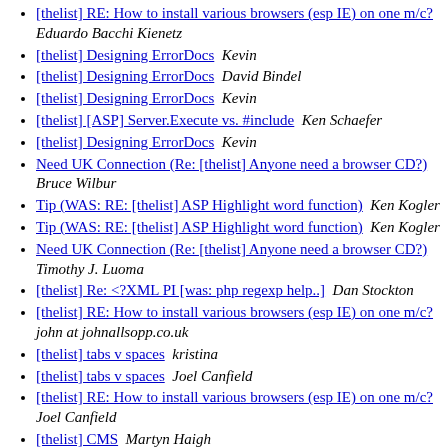[thelist] RE: How to install various browsers (esp IE) on one m/c?  Eduardo Bacchi Kienetz
[thelist] Designing ErrorDocs  Kevin
[thelist] Designing ErrorDocs  David Bindel
[thelist] Designing ErrorDocs  Kevin
[thelist] [ASP] Server.Execute vs. #include  Ken Schaefer
[thelist] Designing ErrorDocs  Kevin
Need UK Connection (Re: [thelist] Anyone need a browser CD?)  Bruce Wilbur
Tip (WAS: RE: [thelist] ASP Highlight word function)  Ken Kogler
Tip (WAS: RE: [thelist] ASP Highlight word function)  Ken Kogler
Need UK Connection (Re: [thelist] Anyone need a browser CD?)  Timothy J. Luoma
[thelist] Re: <?XML PI [was: php regexp help..]  Dan Stockton
[thelist] RE: How to install various browsers (esp IE) on one m/c?  john at johnallsopp.co.uk
[thelist] tabs v spaces  kristina
[thelist] tabs v spaces  Joel Canfield
[thelist] RE: How to install various browsers (esp IE) on one m/c?  Joel Canfield
[thelist] CMS  Martyn Haigh
[thelist] CMS  Martyn Haigh
[thelist] CMS  Martyn Haigh